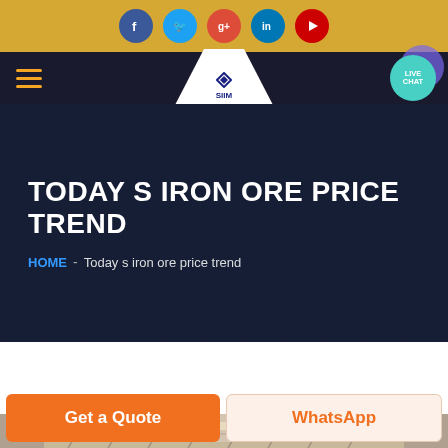Social media icons: Facebook, Twitter, Google+, LinkedIn, YouTube
[Figure (screenshot): Navigation bar with hamburger menu, SIIM logo in white trapezoid, and Live Chat button]
TODAY S IRON ORE PRICE TREND
HOME - Today s iron ore price trend
[Figure (photo): Partial view of a warehouse or industrial building interior with roof trusses and lighting]
Get a Quote
WhatsApp